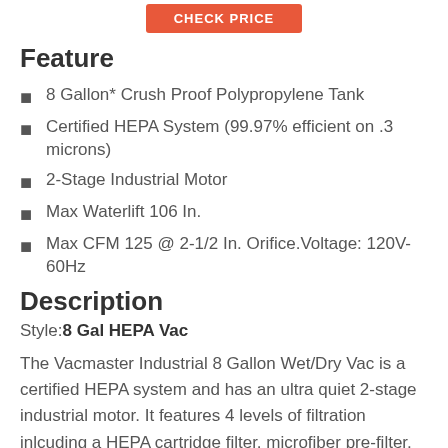[Figure (other): Orange 'CHECK PRICE' button]
Feature
8 Gallon* Crush Proof Polypropylene Tank
Certified HEPA System (99.97% efficient on .3 microns)
2-Stage Industrial Motor
Max Waterlift 106 In.
Max CFM 125 @ 2-1/2 In. Orifice.Voltage: 120V-60Hz
Description
Style:8 Gal HEPA Vac
The Vacmaster Industrial 8 Gallon Wet/Dry Vac is a certified HEPA system and has an ultra quiet 2-stage industrial motor. It features 4 levels of filtration inlcuding a HEPA cartridge filter, microfiber pre-filter, high-efficiency